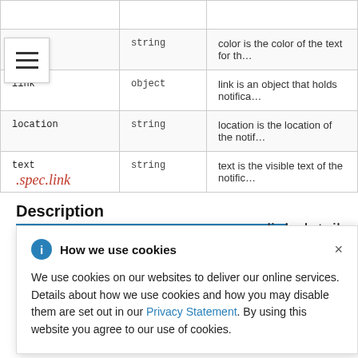|  |  |  |
| --- | --- | --- |
| color | string | color is the color of the text for th… |
| link | object | link is an object that holds notifica… |
| location | string | location is the location of the notif… |
| text | string | text is the visible text of the notific… |
.spec.link
Description
link details.
How we use cookies

We use cookies on our websites to deliver our online services. Details about how we use cookies and how you may disable them are set out in our Privacy Statement. By using this website you agree to our use of cookies.